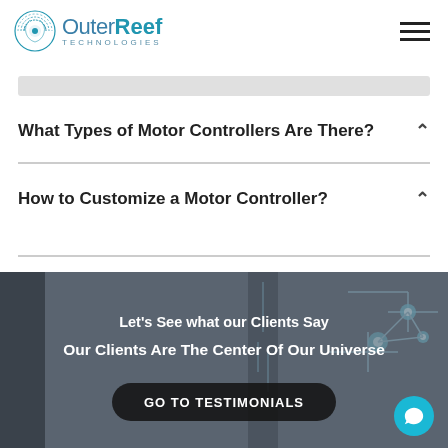Outer Reef Technologies
What Types of Motor Controllers Are There?
How to Customize a Motor Controller?
Let's See what our Clients Say
Our Clients Are The Center Of Our Universe
GO TO TESTIMONIALS